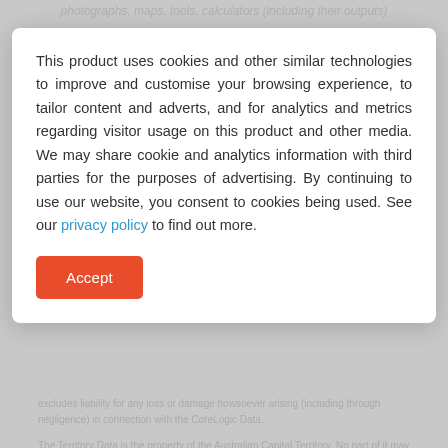photographs, maps, tools, calculators (including their outputs)
This product uses cookies and other similar technologies to improve and customise your browsing experience, to tailor content and adverts, and for analytics and metrics regarding visitor usage on this product and other media. We may share cookie and analytics information with third parties for the purposes of advertising. By continuing to use our website, you consent to cookies being used. See our privacy policy to find out more.
Accept
excludes liability for any loss or damage howsoever arising (including through negligence) in connection with the CoreLogic Data.
The Territory Data is the property of the Australian Capital Territory. No part of it may in any form or by any means (electronic, mechanical, microcopying, photocopying, recording or otherwise) be reproduced, stored in a retrieval system or transmitted without prior written permission. Enquiries should be directed to: Director, Customer Services ACT Planning and Land Authority GPO Box 1908 Canberra ACT 2601